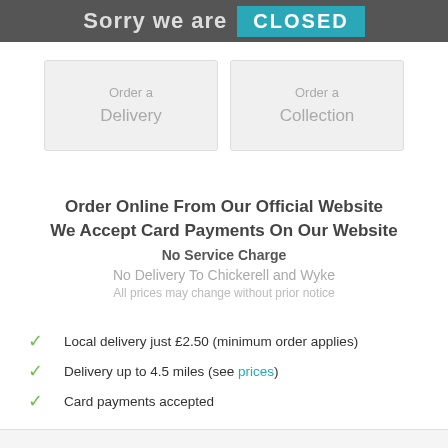[Figure (screenshot): Banner image showing 'Sorry we are CLOSED' text with teal CLOSED button on grey background]
Order a
Delivery
Order a
Collection
Order Online From Our Official Website
We Accept Card Payments On Our Website
No Service Charge
No Delivery To Chickerell and Wyke
All prices may change without prior notice
Local delivery just £2.50 (minimum order applies)
Delivery up to 4.5 miles (see prices)
Card payments accepted